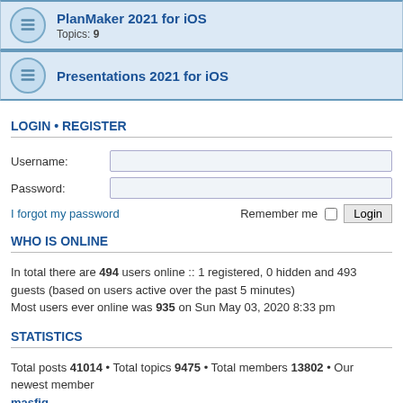PlanMaker 2021 for iOS
Topics: 9
Presentations 2021 for iOS
LOGIN • REGISTER
Username:
Password:
I forgot my password
Remember me  Login
WHO IS ONLINE
In total there are 494 users online :: 1 registered, 0 hidden and 493 guests (based on users active over the past 5 minutes)
Most users ever online was 935 on Sun May 03, 2020 8:33 pm
STATISTICS
Total posts 41014 • Total topics 9475 • Total members 13802 • Our newest member masfiq
SoftMaker • Board index    All times are UTC+02:00
Powered by phpBB® Forum Software © phpBB Limited
Privacy | Terms